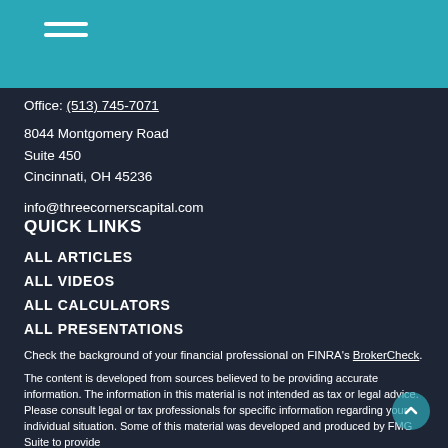Office: (513) 745-7071
8044 Montgomery Road
Suite 450
Cincinnati, OH 45236
info@threecornerscapital.com
QUICK LINKS
ALL ARTICLES
ALL VIDEOS
ALL CALCULATORS
ALL PRESENTATIONS
Check the background of your financial professional on FINRA's BrokerCheck.
The content is developed from sources believed to be providing accurate information. The information in this material is not intended as tax or legal advice. Please consult legal or tax professionals for specific information regarding your individual situation. Some of this material was developed and produced by FMG Suite to provide